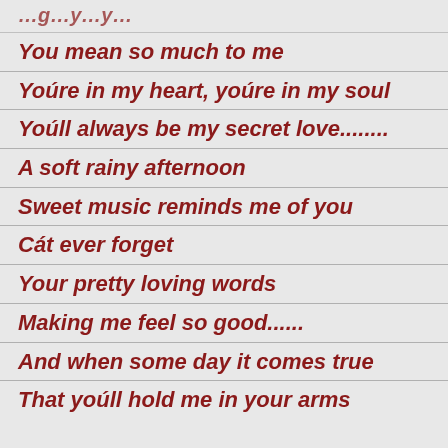You mean so much to me
Youŕe in my heart, youŕe in my soul
Youŕll always be my secret love........
A soft rainy afternoon
Sweet music reminds me of you
Caǹt ever forget
Your pretty loving words
Making me feel so good......
And when some day it comes true
That youŕll hold me in your arms